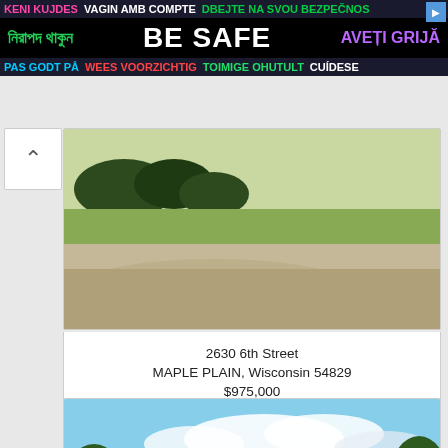[Figure (infographic): Multilingual 'BE SAFE' advertisement banner with text in multiple languages including Bengali, Czech, Turkish, Catalan, Danish, Dutch, Estonian, and Spanish on dark background]
[Figure (photo): Real estate listing photo showing a rural property with green lawn, gravel driveway, and trees in background]
2630 6th Street
MAPLE PLAIN, Wisconsin 54829
$975,000
[Figure (photo): Real estate listing photo showing a large log-style home with brown wood siding, stone chimney, multiple roof peaks, large windows, deck, surrounded by trees and green lawn under partly cloudy sky]